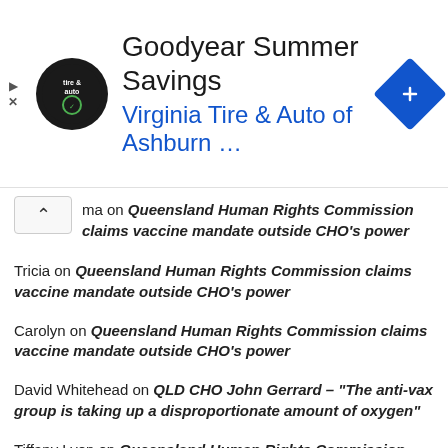[Figure (screenshot): Google ad banner for Goodyear Summer Savings at Virginia Tire & Auto of Ashburn with logo and navigation arrow icon]
ma on Queensland Human Rights Commission claims vaccine mandate outside CHO's power
Tricia on Queensland Human Rights Commission claims vaccine mandate outside CHO's power
Carolyn on Queensland Human Rights Commission claims vaccine mandate outside CHO's power
David Whitehead on QLD CHO John Gerrard – "The anti-vax group is taking up a disproportionate amount of oxygen"
Tiffany Lyon on Queensland Human Rights Commission claims vaccine mandate outside CHO's power
gamy on Queensland Human Rights Commission claims vaccine mandate outside CHO's power